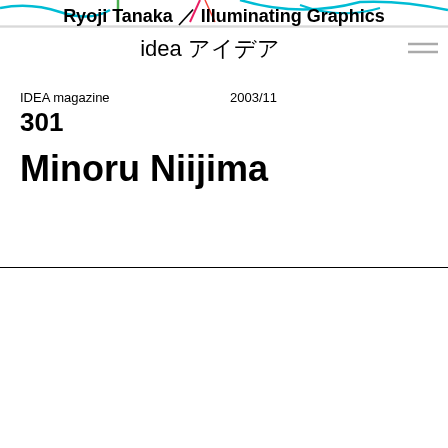Ryoji Tanaka / Illuminating Graphics — idea アイデア
IDEA magazine    2003/11
301
Minoru Niijima